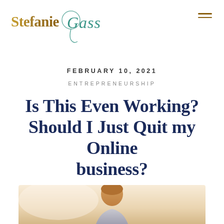Stefanie Gass
FEBRUARY 10, 2021
ENTREPRENEURSHIP
Is This Even Working? Should I Just Quit my Online business?
[Figure (photo): Partial photo of a person visible at the bottom of the page, warm/golden tones background]